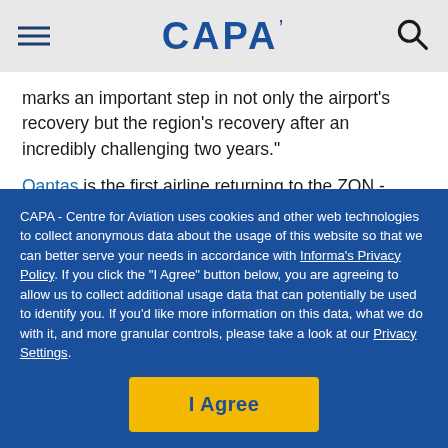CAPA
marks an important step in not only the airport's recovery but the region's recovery after an incredibly challenging two years."
Qantas is the first airline returning to the ZQN - trans-Tasman route, followed by Jetstar on 2 June, and Air New Zealand on 24 June. Virgin is planning to re-start their trans-Tasman services to Queenstown in November.
CAPA - Centre for Aviation uses cookies and other web technologies to collect anonymous data about the usage of this website so that we can better serve your needs in accordance with Informa's Privacy Policy. If you click the "I Agree" button below, you are agreeing to allow us to collect additional usage data that can potentially be used to identify you. If you'd like more information on this data, what we do with it, and more granular controls, please take a look at our Privacy Settings.